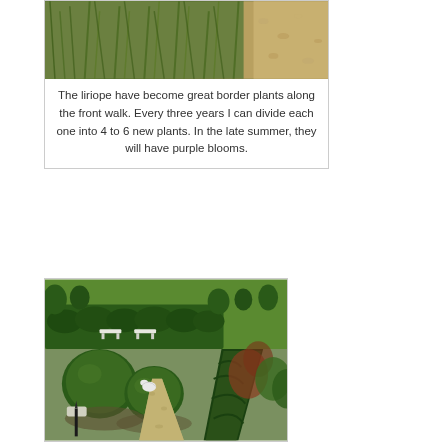[Figure (photo): Photo of liriope plants growing as border plants, showing grass-like green foliage with gravel/stone visible at right edge]
The liriope have become great border plants along the front walk. Every three years I can divide each one into 4 to 6 new plants. In the late summer, they will have purple blooms.
[Figure (photo): Garden photo showing rounded topiary shrubs, a gravel path, a small white bird statue, green hedges in the background with a lawn and park benches visible, and a tall conical/columnar evergreen shrub on the right side]